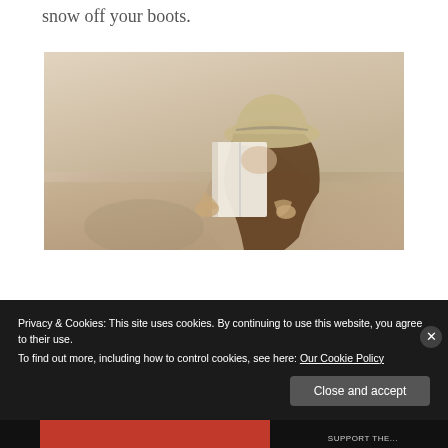snow off your boots.
[Figure (photo): Sepia-toned photograph of a young woman with long wavy hair wearing a striped sun hat, holding an open book up to her face while sitting outdoors, possibly on a beach.]
Privacy & Cookies: This site uses cookies. By continuing to use this website, you agree to their use.
To find out more, including how to control cookies, see here: Our Cookie Policy
Close and accept